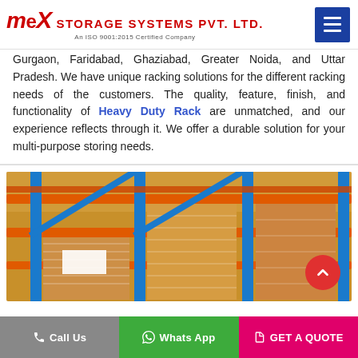MEX STORAGE SYSTEMS PVT. LTD. An ISO 9001:2015 Certified Company
Gurgaon, Faridabad, Ghaziabad, Greater Noida, and Uttar Pradesh. We have unique racking solutions for the different racking needs of the customers. The quality, feature, finish, and functionality of Heavy Duty Rack are unmatched, and our experience reflects through it. We offer a durable solution for your multi-purpose storing needs.
[Figure (photo): Warehouse heavy duty pallet racking system with orange horizontal beams and blue vertical uprights, loaded with wrapped pallets of goods]
Call Us | Whats App | GET A QUOTE